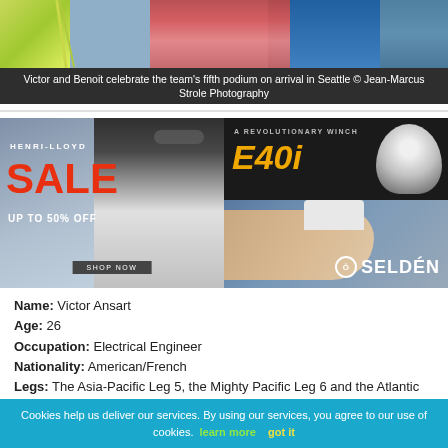[Figure (photo): Photo of Victor and Benoit celebrating on arrival in Seattle, sailing scene with colorful sails]
Victor and Benoit celebrate the team's fifth podium on arrival in Seattle © Jean-Marcus Strole Photography
[Figure (photo): Henri-Lloyd advertisement: SALE UP TO 50% OFF with sailor in background]
[Figure (photo): Seldén advertisement: A Revolutionary Winch E40i with hand operating a winch]
Name: Victor Ansart
Age: 26
Occupation: Electrical Engineer
Nationality: American/French
Legs: The Asia-Pacific Leg 5, the Mighty Pacific Leg 6 and the Atlantic Homecoming Leg 8
Team: Sanya Serenity Coast
Cookies help us deliver our services. By using our services, you agree to our use of cookies. learn more   got it